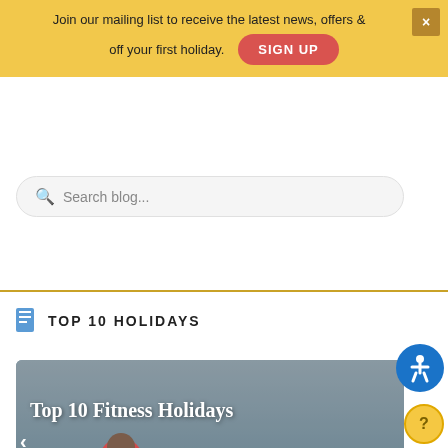Join our mailing list to receive the latest news, offers & off your first holiday.
SIGN UP
Search blog...
TOP 10 HOLIDAYS
[Figure (photo): Group of people doing outdoor fitness exercises on a beach, running and doing squats. Photo used as header for 'Top 10 Fitness Holidays' article.]
Top 10 Fitness Holidays